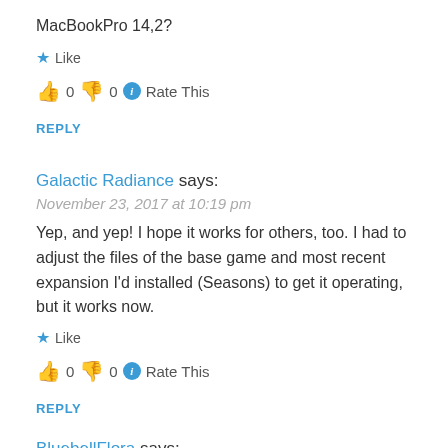MacBookPro 14,2?
★ Like
👍 0 👎 0 ℹ Rate This
REPLY
Galactic Radiance says:
November 23, 2017 at 10:19 pm
Yep, and yep! I hope it works for others, too. I had to adjust the files of the base game and most recent expansion I'd installed (Seasons) to get it operating, but it works now.
★ Like
👍 0 👎 0 ℹ Rate This
REPLY
BluebellFlora says: